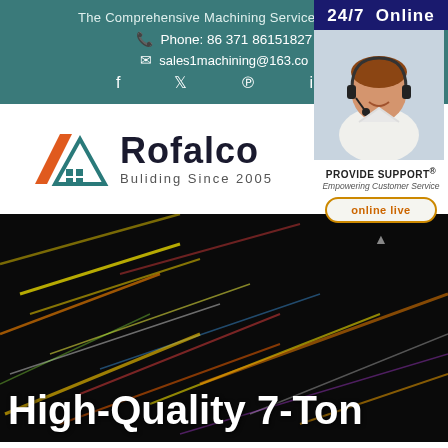The Comprehensive Machining Service Platform
Phone: 86 371 86151827
sales1machining@163.co
f  t  p  in
[Figure (logo): Rofalco logo with stylized house/roof icon in orange and teal, text 'Rofalco' and 'Buliding Since 2005']
[Figure (photo): Customer service representative with headset smiling, labeled '24/7 Online', 'PROVIDE SUPPORT® Empowering Customer Service', with 'online live' button]
[Figure (photo): Dark background with colorful blurred light streaks (bokeh effect)]
High-Quality 7-Ton